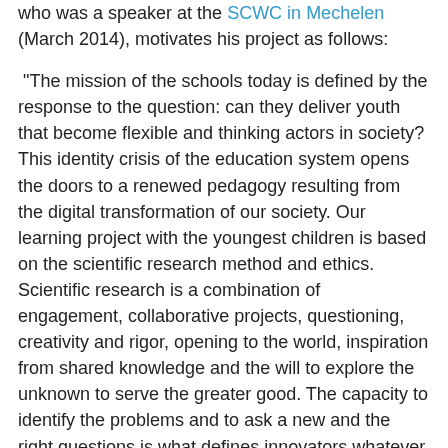who was a speaker at the SCWC in Mechelen (March 2014), motivates his project as follows:
"The mission of the schools today is defined by the response to the question: can they deliver youth that become flexible and thinking actors in society? This identity crisis of the education system opens the doors to a renewed pedagogy resulting from the digital transformation of our society. Our learning project with the youngest children is based on the scientific research method and ethics. Scientific research is a combination of engagement, collaborative projects, questioning, creativity and rigor, opening to the world, inspiration from shared knowledge and the will to explore the unknown to serve the greater good. The capacity to identify the problems and to ask a new and the right questions is what defines innovators whatever the field they are in.
The kids we work with value the constraints of permanent scientific questioning. They learn how to formulate solid and pertinent research questions, to define concepts and to share results with their peers. In this way, the learning of the